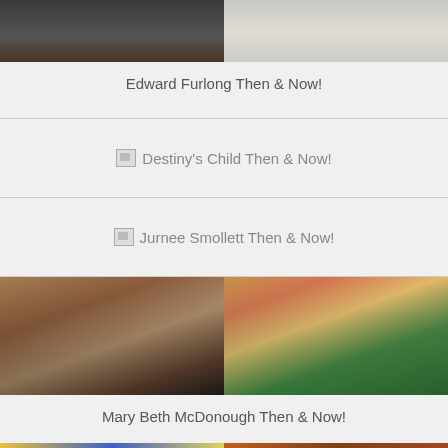[Figure (photo): Edward Furlong then and now photos, partially cropped at top]
Edward Furlong Then & Now!
Destiny's Child Then & Now!
Jurnee Smollett Then & Now!
[Figure (photo): Mary Beth McDonough then (young actress) and now (older woman in green dress)]
Mary Beth McDonough Then & Now!
[Figure (photo): Two photos of a young boy, then and now, partially visible at bottom of page]